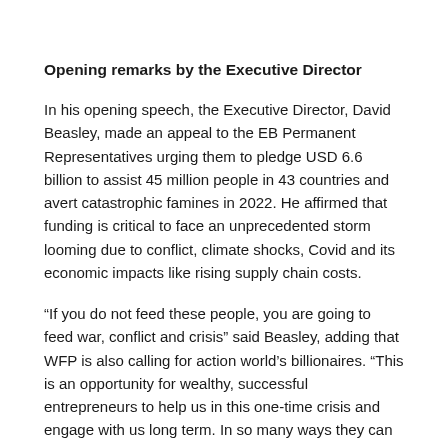Opening remarks by the Executive Director
In his opening speech, the Executive Director, David Beasley, made an appeal to the EB Permanent Representatives urging them to pledge USD 6.6 billion to assist 45 million people in 43 countries and avert catastrophic famines in 2022. He affirmed that funding is critical to face an unprecedented storm looming due to conflict, climate shocks, Covid and its economic impacts like rising supply chain costs.
“If you do not feed these people, you are going to feed war, conflict and crisis” said Beasley, adding that WFP is also calling for action world’s billionaires. “This is an opportunity for wealthy, successful entrepreneurs to help us in this one-time crisis and engage with us long term. In so many ways they can make us more strategic and end hunger around the world”.